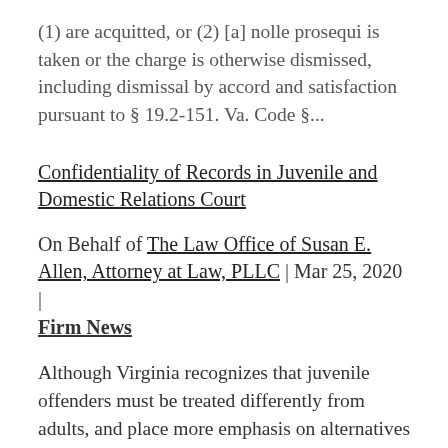(1) are acquitted, or (2) [a] nolle prosequi is taken or the charge is otherwise dismissed, including dismissal by accord and satisfaction pursuant to § 19.2-151. Va. Code §...
Confidentiality of Records in Juvenile and Domestic Relations Court
On Behalf of The Law Office of Susan E. Allen, Attorney at Law, PLLC | Mar 25, 2020 | Firm News
Although Virginia recognizes that juvenile offenders must be treated differently from adults, and place more emphasis on alternatives to incarceration, juveniles charged with criminal offenses can still face serious, potentially life-long consequences. Because the